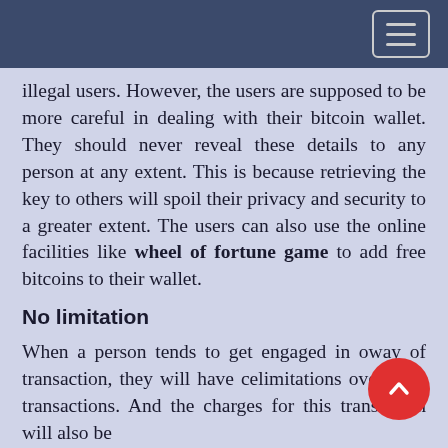illegal users. However, the users are supposed to be more careful in dealing with their bitcoin wallet. They should never reveal these details to any person at any extent. This is because retrieving the key to others will spoil their privacy and security to a greater extent. The users can also use the online facilities like wheel of fortune game to add free bitcoins to their wallet.
No limitation
When a person tends to get engaged in only way of transaction, they will have certain limitations over their transactions. And the charges for this transaction will also be